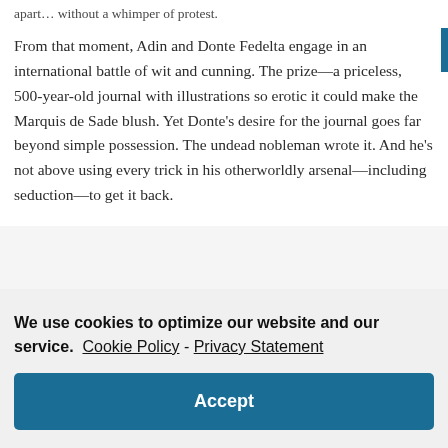apart… without a whimper of protest.
From that moment, Adin and Donte Fedelta engage in an international battle of wit and cunning. The prize—a priceless, 500-year-old journal with illustrations so erotic it could make the Marquis de Sade blush. Yet Donte's desire for the journal goes far beyond simple possession. The undead nobleman wrote it. And he's not above using every trick in his otherworldly arsenal—including seduction—to get it back.
We use cookies to optimize our website and our service.  Cookie Policy - Privacy Statement
Accept